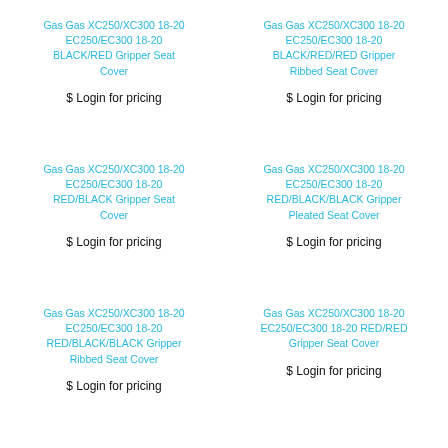Gas Gas XC250/XC300 18-20 EC250/EC300 18-20 BLACK/RED Gripper Seat Cover
$ Login for pricing
Gas Gas XC250/XC300 18-20 EC250/EC300 18-20 BLACK/RED/RED Gripper Ribbed Seat Cover
$ Login for pricing
Gas Gas XC250/XC300 18-20 EC250/EC300 18-20 RED/BLACK Gripper Seat Cover
$ Login for pricing
Gas Gas XC250/XC300 18-20 EC250/EC300 18-20 RED/BLACK/BLACK Gripper Pleated Seat Cover
$ Login for pricing
Gas Gas XC250/XC300 18-20 EC250/EC300 18-20 RED/BLACK/BLACK Gripper Ribbed Seat Cover
$ Login for pricing
Gas Gas XC250/XC300 18-20 EC250/EC300 18-20 RED/RED Gripper Seat Cover
$ Login for pricing